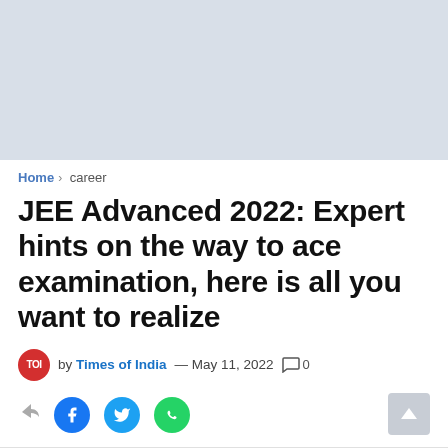[Figure (other): Light blue/grey advertisement banner placeholder at top of page]
Home › career
JEE Advanced 2022: Expert hints on the way to ace examination, here is all you want to realize
by Times of India — May 11, 2022  🗨 0